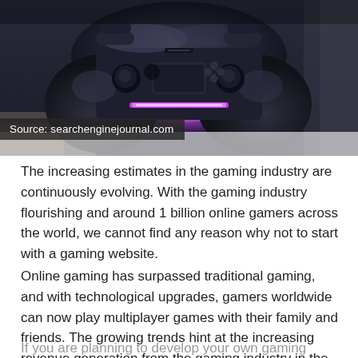[Figure (photo): Close-up photograph of a black PlayStation-style game controller with purple/pink glowing light bar, shot from below against a blurred background]
Source: searchenginejournal.com
The increasing estimates in the gaming industry are continuously evolving. With the gaming industry flourishing and around 1 billion online gamers across the world, we cannot find any reason why not to start with a gaming website.
Online gaming has surpassed traditional gaming, and with technological upgrades, gamers worldwide can now play multiplayer games with their family and friends. The growing trends hint at the increasing revenue generation from the gaming industry in the near future.
If you are planning to develop your own gaming website, you are completely on the right track, but do not forget to bring...